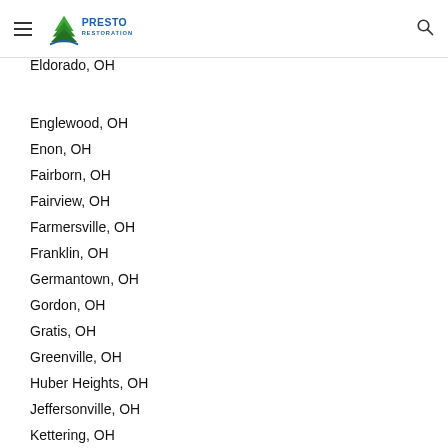Presto Restoration
Eldorado, OH
Englewood, OH
Enon, OH
Fairborn, OH
Fairview, OH
Farmersville, OH
Franklin, OH
Germantown, OH
Gordon, OH
Gratis, OH
Greenville, OH
Huber Heights, OH
Jeffersonville, OH
Kettering, OH